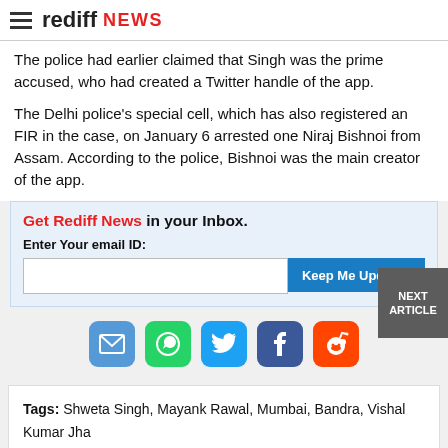rediff NEWS
The police had earlier claimed that Singh was the prime accused, who had created a Twitter handle of the app.
The Delhi police's special cell, which has also registered an FIR in the case, on January 6 arrested one Niraj Bishnoi from Assam. According to the police, Bishnoi was the main creator of the app.
Get Rediff News in your Inbox. Enter Your email ID: Keep Me Updated
[Figure (infographic): Social share icons: email, WhatsApp, Twitter, Facebook, Reddit]
NEXT ARTICLE
Tags: Shweta Singh, Mayank Rawal, Mumbai, Bandra, Vishal Kumar Jha